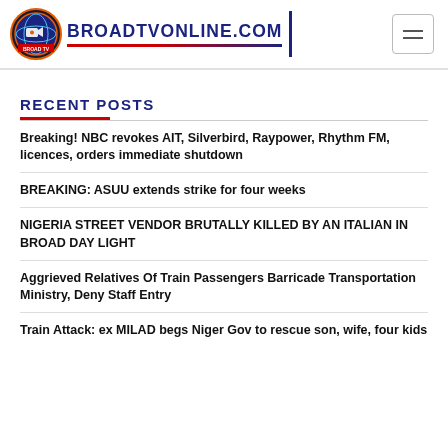BROADTVONLINE.COM
RECENT POSTS
Breaking! NBC revokes AIT, Silverbird, Raypower, Rhythm FM, licences, orders immediate shutdown
BREAKING: ASUU extends strike for four weeks
NIGERIA STREET VENDOR BRUTALLY KILLED BY AN ITALIAN IN BROAD DAY LIGHT
Aggrieved Relatives Of Train Passengers Barricade Transportation Ministry, Deny Staff Entry
Train Attack: ex MILAD begs Niger Gov to rescue son, wife, four kids